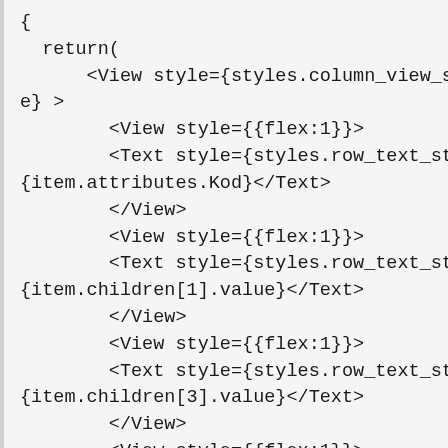{
  return(
      <View style={styles.column_view_style} >
        <View style={{flex:1}}>
        <Text style={styles.row_text_style}>
{item.attributes.Kod}</Text>
        </View>
        <View style={{flex:1}}>
        <Text style={styles.row_text_style}>
{item.children[1].value}</Text>
        </View>
        <View style={{flex:1}}>
        <Text style={styles.row_text_style}>
{item.children[3].value}</Text>
        </View>
        <View style={{flex:1}}>
        <Text style={styles.row_text_style}>
{item.children[4].value}</Text>